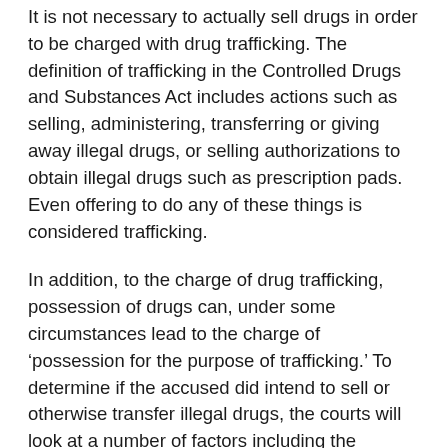It is not necessary to actually sell drugs in order to be charged with drug trafficking. The definition of trafficking in the Controlled Drugs and Substances Act includes actions such as selling, administering, transferring or giving away illegal drugs, or selling authorizations to obtain illegal drugs such as prescription pads. Even offering to do any of these things is considered trafficking.
In addition, to the charge of drug trafficking, possession of drugs can, under some circumstances lead to the charge of 'possession for the purpose of trafficking.' To determine if the accused did intend to sell or otherwise transfer illegal drugs, the courts will look at a number of factors including the amount of drugs in question, unexplained cash or monetary gain, the absence or presence of drug paraphernalia and even the drug use habits of the accused. There can be a huge mountain of complicated evidence used to prove or disprove